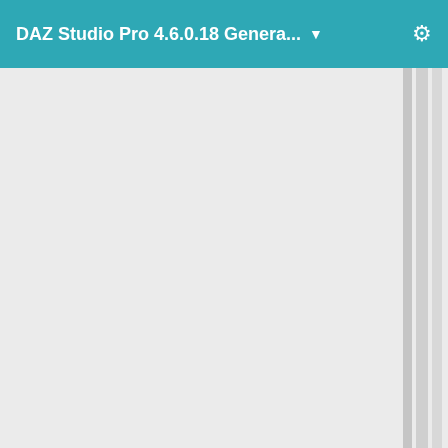DAZ Studio Pro 4.6.0.18 Genera... ▼
Studio 4.5.1.56 Advanced (inactive) and DAZ Studio 4.5.1.56 (inactive)